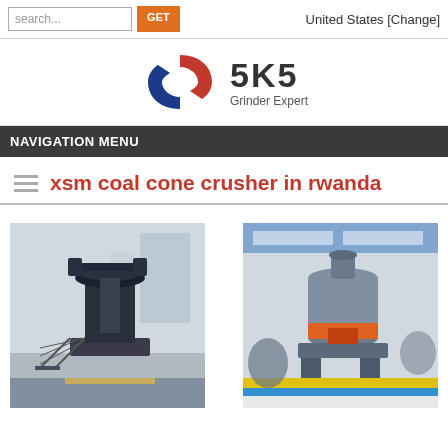search... GET   United States [Change]
[Figure (logo): SKS Grinder Expert logo with stylized S emblem in red and blue, bold text '5K5' and subtitle 'Grinder Expert']
NAVIGATION MENU
xsm coal cone crusher in rwanda
[Figure (photo): Photo of a large vertical coal cone crusher machine with stairs, in an industrial building]
[Figure (photo): Photo of a cone crusher machine in a factory showroom setting]